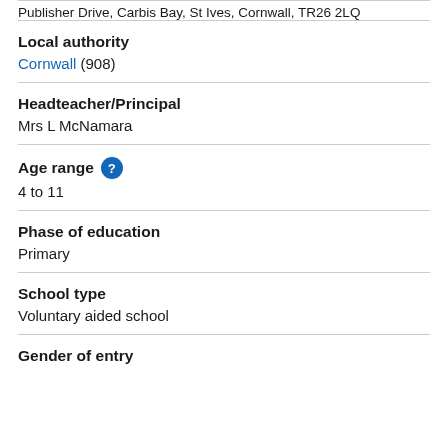Publisher Drive, Carbis Bay, St Ives, Cornwall, TR26 2LQ
Local authority
Cornwall (908)
Headteacher/Principal
Mrs L McNamara
Age range
4 to 11
Phase of education
Primary
School type
Voluntary aided school
Gender of entry